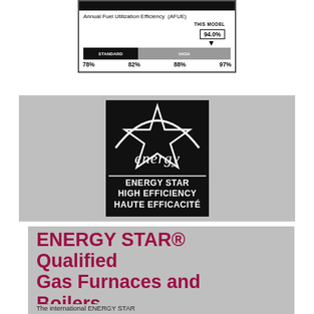[Figure (infographic): EnergyGuide label showing Annual Fuel Utilization Efficiency (AFUE) with This Model at 94.0%, scale from 78% to 97% with Standard and High efficiency zones]
[Figure (logo): ENERGY STAR High Efficiency / Haute Efficacité logo — black square with white star and cursive 'energy' text]
ENERGY STAR® Qualified Gas Furnaces and Boilers
The international ENERGY STAR